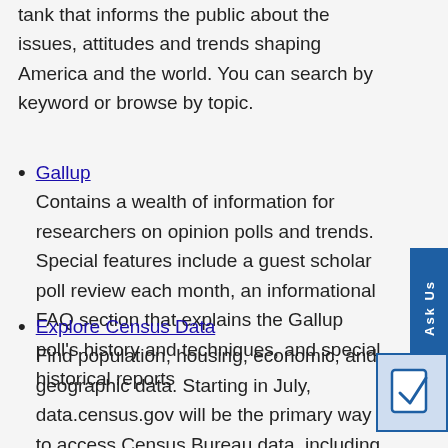tank that informs the public about the issues, attitudes and trends shaping America and the world. You can search by keyword or browse by topic.
Gallup — Contains a wealth of information for researchers on opinion polls and trends. Special features include a guest scholar poll review each month, an informational FAQ section that explains the Gallup poll's history and techniques, and special historical reports
Explore Census Data — Find population, housing, economic, and geographic data. Starting in July, data.census.gov will be the primary way to access Census Bureau data, including